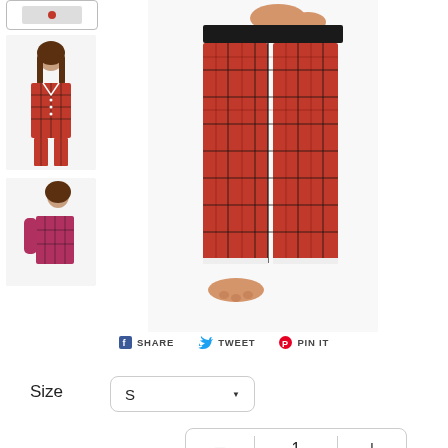[Figure (photo): Top thumbnail strip showing selected state indicator for red plaid pajama product]
[Figure (photo): Thumbnail showing full front view of woman wearing red plaid flannel button-up pajama top and pants]
[Figure (photo): Thumbnail showing back/side view of woman wearing red plaid flannel pajama top]
[Figure (photo): Main product image showing lower body view of red plaid flannel pajama pants on model, with hands visible at top]
SHARE   TWEET   PIN IT
Size
S
- 1 +